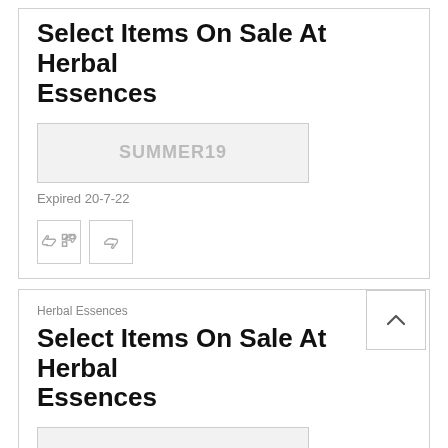Select Items On Sale At Herbal Essences
[Figure (other): Coupon code box showing SUMMER19 in grey text on a light grey background]
Expired 20-7-22
[Figure (other): Thumbs down and thumbs up vote buttons]
Herbal Essences
Select Items On Sale At Herbal Essences
[Figure (other): Coupon code box showing BEMINE in grey text on a light grey background]
Expired 20-7-22
[Figure (other): Thumbs down and thumbs up vote buttons]
Herbal Essences
$7 Flat Rate Plus Free Shipping